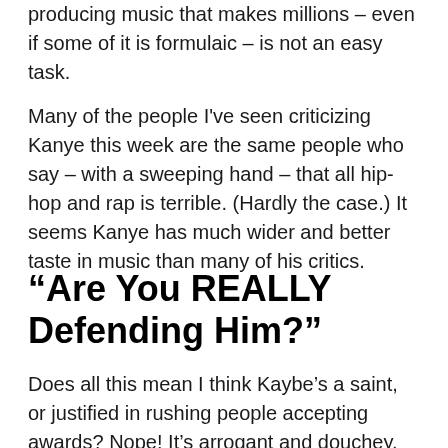producing music that makes millions – even if some of it is formulaic – is not an easy task.
Many of the people I've seen criticizing Kanye this week are the same people who say – with a sweeping hand – that all hip-hop and rap is terrible. (Hardly the case.) It seems Kanye has much wider and better taste in music than many of his critics.
“Are You REALLY Defending Him?”
Does all this mean I think Kaybe's a saint, or justified in rushing people accepting awards? Nope! It's arrogant and douchey. (Although, behind-the-scenes, I would not be surprised to find him laughing with close friends about how easy it is to get a rise out of people.) But again...it's the